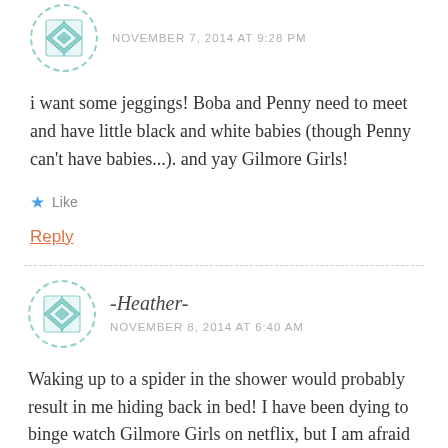NOVEMBER 7, 2014 AT 9:28 PM
i want some jeggings! Boba and Penny need to meet and have little black and white babies (though Penny can't have babies...). and yay Gilmore Girls!
Like
Reply
-Heather-
NOVEMBER 8, 2014 AT 6:40 AM
Waking up to a spider in the shower would probably result in me hiding back in bed! I have been dying to binge watch Gilmore Girls on netflix, but I am afraid all chances